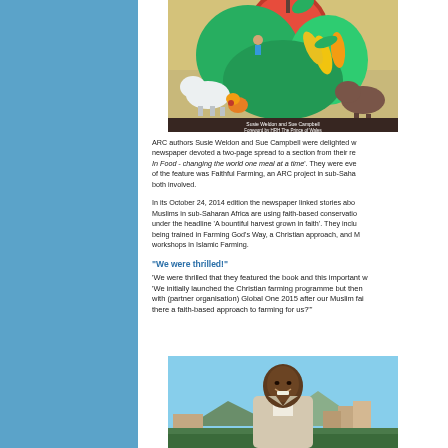[Figure (photo): Book cover illustration with colorful folk art style painting showing animals, plants, corn, and a large red fruit/apple. Text reads 'Susie Weldon and Sue Campbell, Foreword by HRH The Prince of Wales']
ARC authors Susie Weldon and Sue Campbell were delighted w... newspaper devoted a two-page spread to a section from their re... In Food - changing the world one meal at a time'. They were eve... of the feature was Faithful Farming, an ARC project in sub-Saha... both involved.
In its October 24, 2014 edition the newspaper linked stories abo... Muslims in sub-Saharan Africa are using faith-based conservatio... under the headline 'A bountiful harvest grown in faith'. They inclu... being trained in Farming God's Way, a Christian approach, and M... workshops in Islamic Farming.
"We were thrilled!"
'We were thrilled that they featured the book and this important w... 'We initially launched the Christian farming programme but then ... with (partner organisation) Global One 2015 after our Muslim fai... there a faith-based approach to farming for us?'"
[Figure (photo): A smiling man in a light suit jacket standing outdoors with buildings and mountains in the background]